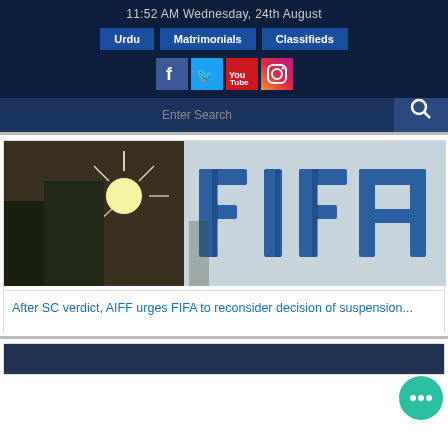11:52 AM Wednesday, 24th August
Urdu | Matrimonials | Classifieds
[Figure (screenshot): Social media icons: Facebook, Twitter, YouTube, Instagram]
Enter Search
[Figure (photo): FIFA logo sign against a bright sunlit sky with trees]
After SC verdict, AIFF urges FIFA to reconsider decision of suspension...
[Figure (photo): Partial view of a second news article image, dark background]